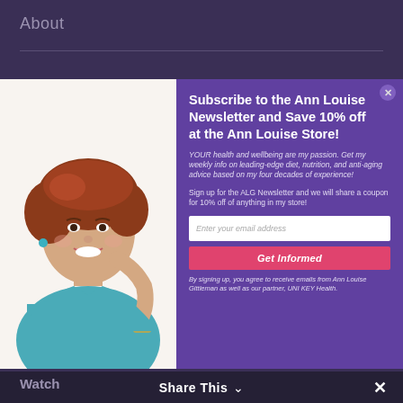About
[Figure (photo): Woman with red hair wearing a teal sleeveless top, smiling with hand on cheek]
Subscribe to the Ann Louise Newsletter and Save 10% off at the Ann Louise Store!
YOUR health and wellbeing are my passion. Get my weekly info on leading-edge diet, nutrition, and anti-aging advice based on my four decades of experience!
Sign up for the ALG Newsletter and we will share a coupon for 10% off of anything in my store!
Enter your email address
Get Informed
By signing up, you agree to receive emails from Ann Louise Gittleman as well as our partner, UNI KEY Health.
Read
Listen
Watch
Share This ∨